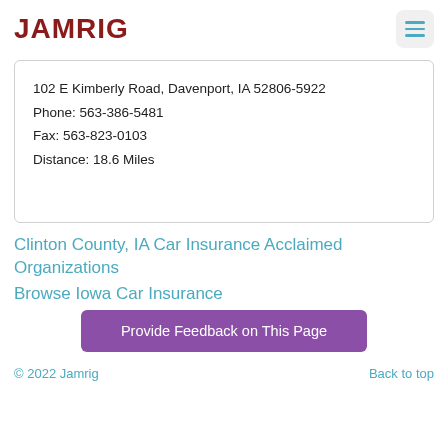JAMRIG
102 E Kimberly Road, Davenport, IA 52806-5922
Phone: 563-386-5481
Fax: 563-823-0103
Distance: 18.6 Miles
Clinton County, IA Car Insurance Acclaimed Organizations
Browse Iowa Car Insurance
Provide Feedback on This Page
© 2022 Jamrig    Back to top